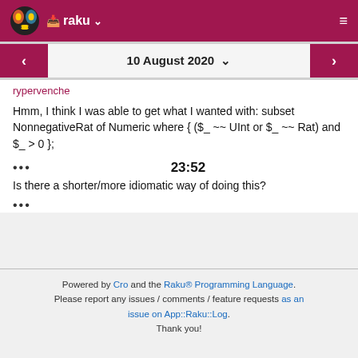raku
10 August 2020
rypervenche
Hmm, I think I was able to get what I wanted with: subset NonnegativeRat of Numeric where { ($_ ~~ UInt or $_ ~~ Rat) and $_ > 0 };
... 23:52
Is there a shorter/more idiomatic way of doing this?
...
Powered by Cro and the Raku® Programming Language. Please report any issues / comments / feature requests as an issue on App::Raku::Log. Thank you!